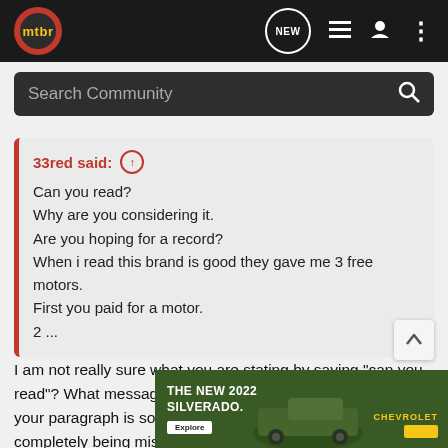mtbr — NEW (navigation icons)
Search Community
33red said: ↑
Can you read?
Why are you considering it.
Are you hoping for a record?
When i read this brand is good they gave me 3 free motors.
First you paid for a motor.
2 ...
I am not really sure what you are stating by saying "can you read"? What message are you attempting to convey? Also your paragraph is so broken, the value in your message is completely being missed. Thanks for attempting a response though.
[Figure (screenshot): Chevrolet Silverado 2022 advertisement banner at bottom of page, showing truck in outdoor setting with 'THE NEW 2022 SILVERADO.' text, Explore button, and Chevrolet logo]